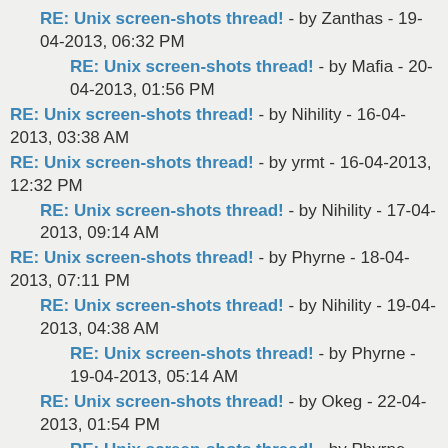RE: Unix screen-shots thread! - by Zanthas - 19-04-2013, 06:32 PM
RE: Unix screen-shots thread! - by Mafia - 20-04-2013, 01:56 PM
RE: Unix screen-shots thread! - by Nihility - 16-04-2013, 03:38 AM
RE: Unix screen-shots thread! - by yrmt - 16-04-2013, 12:32 PM
RE: Unix screen-shots thread! - by Nihility - 17-04-2013, 09:14 AM
RE: Unix screen-shots thread! - by Phyrne - 18-04-2013, 07:11 PM
RE: Unix screen-shots thread! - by Nihility - 19-04-2013, 04:38 AM
RE: Unix screen-shots thread! - by Phyrne - 19-04-2013, 05:14 AM
RE: Unix screen-shots thread! - by Okeg - 22-04-2013, 01:54 PM
RE: Unix screen-shots thread! - by Phyrne - 23-04-2013, 05:06 AM
RE: Unix screen-shots thread! - by Okeg - 23-04-2013,